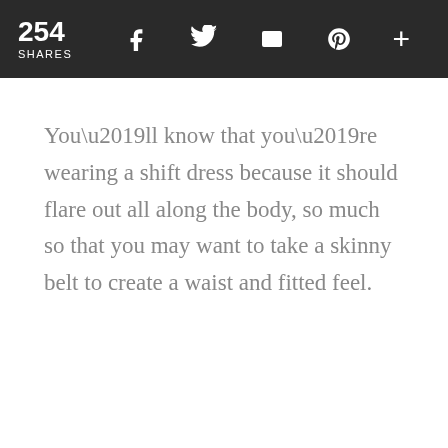254 SHARES
You’ll know that you’re wearing a shift dress because it should flare out all along the body, so much so that you may want to take a skinny belt to create a waist and fitted feel.